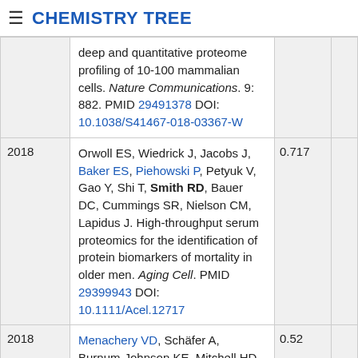☰ CHEMISTRY TREE
| Year | Reference | Score |  |
| --- | --- | --- | --- |
|  | deep and quantitative proteome profiling of 10-100 mammalian cells. Nature Communications. 9: 882. PMID 29491378 DOI: 10.1038/S41467-018-03367-W |  |  |
| 2018 | Orwoll ES, Wiedrick J, Jacobs J, Baker ES, Piehowski P, Petyuk V, Gao Y, Shi T, Smith RD, Bauer DC, Cummings SR, Nielson CM, Lapidus J. High-throughput serum proteomics for the identification of protein biomarkers of mortality in older men. Aging Cell. PMID 29399943 DOI: 10.1111/Acel.12717 | 0.717 |  |
| 2018 | Menachery VD, Schäfer A, Burnum-Johnson KE, Mitchell HD, Eisfeld AJ, Walters KB, Nicora CD, Purvine SO, Casey CP, Monroe ME, Weitz KK, Stratton KG, Webb-Robertson BM, Gralinski LE, Metz TO, ... Smith RD, et al. MERS-CoV and H5N1 influenza virus antagonize antigen presentation by altering the epigenetic landscape. Proceedings of the National Academy of | 0.52 |  |